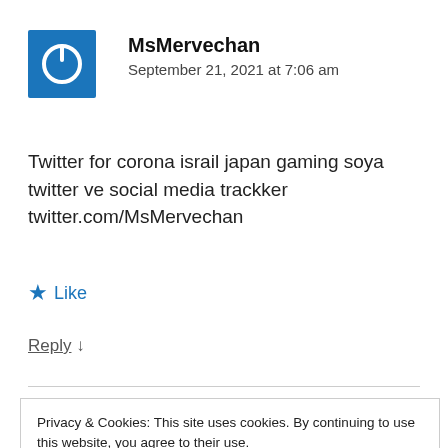[Figure (logo): Blue square avatar with white power button icon]
MsMervechan
September 21, 2021 at 7:06 am
Twitter for corona israil japan gaming soya twitter ve social media trackker twitter.com/MsMervechan
★ Like
Reply ↓
Privacy & Cookies: This site uses cookies. By continuing to use this website, you agree to their use.
To find out more, including how to control cookies, see here: Cookie Policy
Close and accept